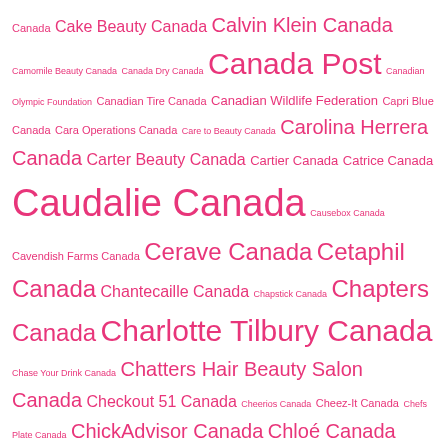Canada Cake Beauty Canada Calvin Klein Canada Camomile Beauty Canada Canada Dry Canada Canada Post Canadian Olympic Foundation Canadian Tire Canada Canadian Wildlife Federation Capri Blue Canada Cara Operations Canada Care to Beauty Canada Carolina Herrera Canada Carter Beauty Canada Cartier Canada Catrice Canada Caudalie Canada Causebox Canada Cavendish Farms Canada Cerave Canada Cetaphil Canada Chantecaille Canada Chapstick Canada Chapters Canada Charlotte Tilbury Canada Chase Your Drink Canada Chatters Hair Beauty Salon Canada Checkout 51 Canada Cheerios Canada Cheez-It Canada Chefs Plate Canada ChickAdvisor Canada Chloé Canada Christian Louboutin Canada Christophe Robin Canada Ciaté London Canada Cineplex Canada Circle K Canada Clairol Canada Clarins Canada Clarisonic Canada Clark's Botanicals Canada Clean & Clear Canada Clean Fragrances Canada Clif Bar Canada Clinique Canada Clionadh Cosmetics Canada Clé de Peau